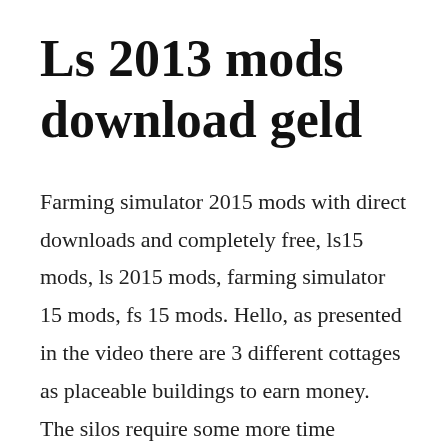Ls 2013 mods download geld
Farming simulator 2015 mods with direct downloads and completely free, ls15 mods, ls 2015 mods, farming simulator 15 mods, fs 15 mods. Hello, as presented in the video there are 3 different cottages as placeable buildings to earn money. The silos require some more time fermenting silage so it is a special